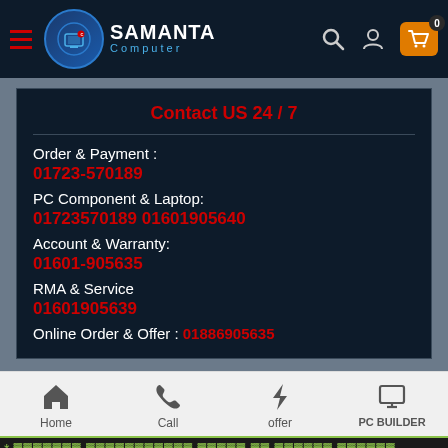Samanta Computer — Navigation header with logo, search, account, and cart icons
Contact US 24 / 7
Order & Payment :
01723-570189
PC Component & Laptop:
01723570189 01601905640
Account & Warranty:
01601-905635
RMA & Service
01601905639
Online Order & Offer : 01886905635
Home  Call  offer  PC BUILDER